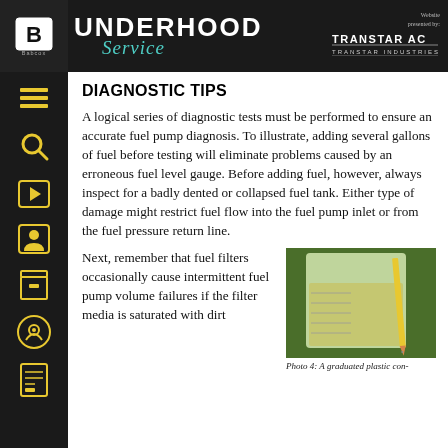UNDERHOOD Service — Website presented by: TRANSTAR AC TRANSTAR INDUSTRIES
DIAGNOSTIC TIPS
A logical series of diagnostic tests must be performed to ensure an accurate fuel pump diagnosis. To illustrate, adding several gallons of fuel before testing will eliminate problems caused by an erroneous fuel level gauge. Before adding fuel, however, always inspect for a badly dented or collapsed fuel tank. Either type of damage might restrict fuel flow into the fuel pump inlet or from the fuel pressure return line.
Next, remember that fuel filters occasionally cause intermittent fuel pump volume failures if the filter media is saturated with dirt
[Figure (photo): A graduated plastic container holding yellowish liquid (fuel sample) with a pencil resting inside, placed on green grass background.]
Photo 4: A graduated plastic con-